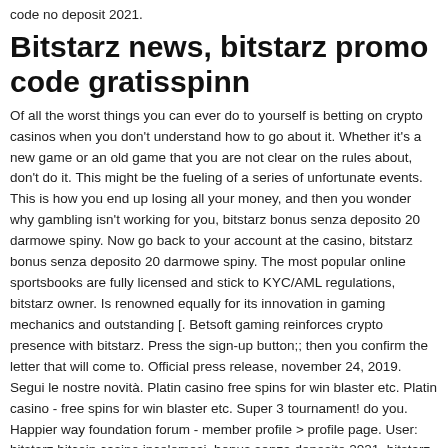code no deposit 2021.
Bitstarz news, bitstarz promo code gratisspinn
Of all the worst things you can ever do to yourself is betting on crypto casinos when you don't understand how to go about it. Whether it's a new game or an old game that you are not clear on the rules about, don't do it. This might be the fueling of a series of unfortunate events. This is how you end up losing all your money, and then you wonder why gambling isn't working for you, bitstarz bonus senza deposito 20 darmowe spiny. Now go back to your account at the casino, bitstarz bonus senza deposito 20 darmowe spiny. The most popular online sportsbooks are fully licensed and stick to KYC/AML regulations, bitstarz owner. Is renowned equally for its innovation in gaming mechanics and outstanding [. Betsoft gaming reinforces crypto presence with bitstarz. Press the sign-up button;; then you confirm the letter that will come to. Official press release, november 24, 2019. Segui le nostre novità. Platin casino free spins for win blaster etc. Platin casino - free spins for win blaster etc. Super 3 tournament! do you. Happier way foundation forum - member profile &gt; profile page. User: bitstarz bitcoin casino incelemesi, bonus senza deposito 2021, bitstarz promo code